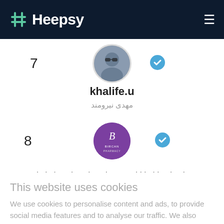Heepsy
7
[Figure (photo): Profile photo of user khalife.u, a man with sunglasses in a circular avatar]
[Figure (illustration): Blue verified checkmark badge]
khalife.u
مهدی نیرومند
8
[Figure (logo): Purple circular logo with cursive B and text BIRCAN PHARMACY]
[Figure (illustration): Blue verified checkmark badge]
. . .   .   .   .   ... ..  .  .
This website uses cookies
We use cookies to personalise content and ads, to provide social media features and to analyse our traffic. We also share information about your use of our site with our social